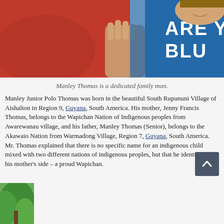[Figure (photo): Two people lying down, one in a red shirt and one in a blue shirt with partial text 'ARE Y BLU', with a child's hand visible in the center.]
Manley Thomas is a dedicated family man.
Manley Junior Polo Thomas was born in the beautiful South Rupununi Village of Aishalton in Region 9, Guyana, South America. His mother, Jenny Francis Thomas, belongs to the Wapichan Nation of Indigenous peoples from Awarewanau village, and his father, Manley Thomas (Senior), belongs to the Akawaio Nation from Warmadong Village, Region 7, Guyana, South America. Mr. Thomas explained that there is no specific name for an indigenous child mixed with two different nations of indigenous peoples, but that he identifies with his mother's side – a proud Wapichan.
[Figure (photo): Partial view of a tree with green foliage at the bottom left of the page.]